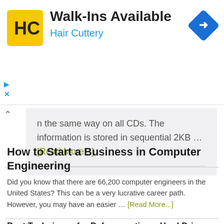[Figure (other): Hair Cuttery advertisement banner with yellow HC logo, 'Walk-Ins Available' headline, 'Hair Cuttery' subtext in blue, and a blue diamond-shaped navigation arrow icon on the right]
n the same way on all CDs. The information is stored in sequential 2KB … [Read More...]
How to Start a Business in Computer Engineering
Did you know that there are 66,200 computer engineers in the United States? This can be a very lucrative career path. However, you may have an easier … [Read More...]
Best Techniques for Defragmenting a Hard Drive